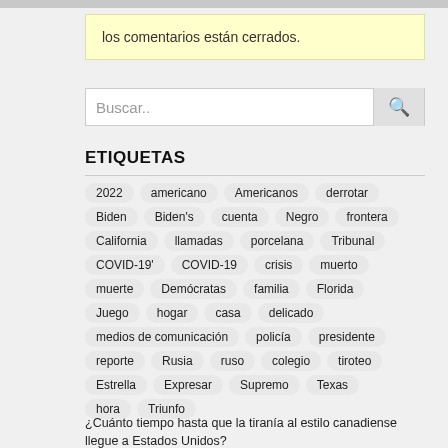los comentarios están cerrados.
Buscar..
ETIQUETAS
2022
americano
Americanos
derrotar
Biden
Biden's
cuenta
Negro
frontera
California
llamadas
porcelana
Tribunal
COVID-19'
COVID-19
crisis
muerto
muerte
Demócratas
familia
Florida
Juego
hogar
casa
delicado
medios de comunicación
policía
presidente
reporte
Rusia
ruso
colegio
tiroteo
Estrella
Expresar
Supremo
Texas
hora
Triunfo
¿Cuánto tiempo hasta que la tiranía al estilo canadiense llegue a Estados Unidos?